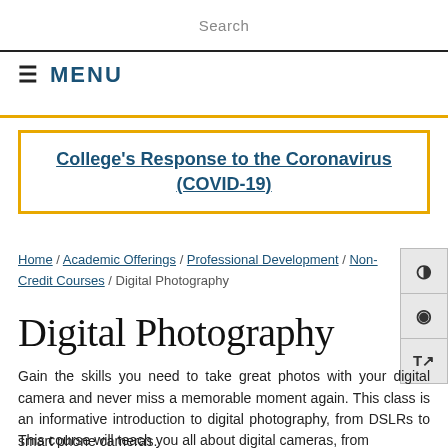Search
≡ MENU
College's Response to the Coronavirus (COVID-19)
Home / Academic Offerings / Professional Development / Non-Credit Courses / Digital Photography
Digital Photography
Gain the skills you need to take great photos with your digital camera and never miss a memorable moment again. This class is an informative introduction to digital photography, from DSLRs to smart phone cameras.
This course will teach you all about digital cameras, from